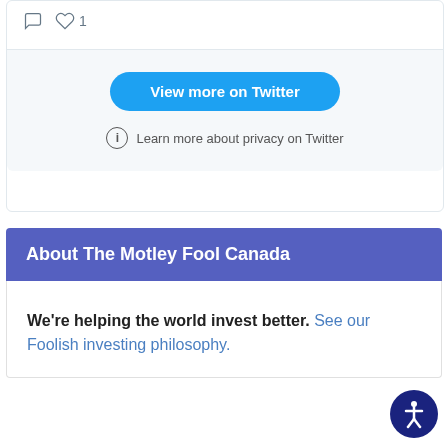[Figure (screenshot): Twitter embed widget showing tweet interaction icons (comment and heart with count 1), a 'View more on Twitter' blue button, and a 'Learn more about privacy on Twitter' info line on a light gray background]
About The Motley Fool Canada
We're helping the world invest better. See our Foolish investing philosophy.